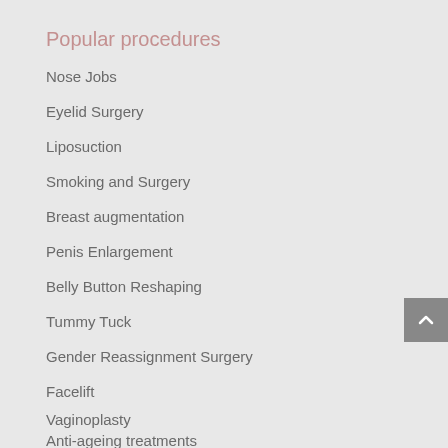Popular procedures
Nose Jobs
Eyelid Surgery
Liposuction
Smoking and Surgery
Breast augmentation
Penis Enlargement
Belly Button Reshaping
Tummy Tuck
Gender Reassignment Surgery
Facelift
Vaginoplasty
Anti-ageing treatments